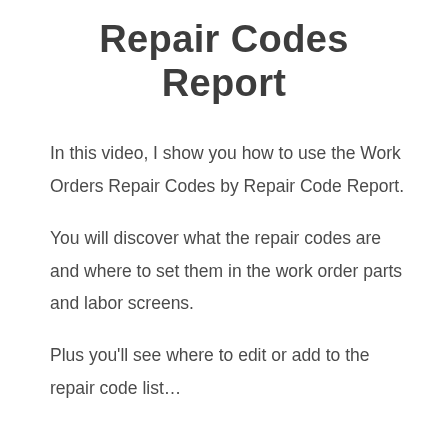Repair Codes Report
In this video, I show you how to use the Work Orders Repair Codes by Repair Code Report.
You will discover what the repair codes are and where to set them in the work order parts and labor screens.
Plus you'll see where to edit or add to the repair code list…